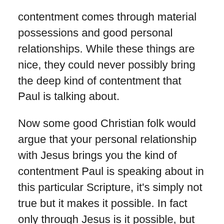contentment comes through material possessions and good personal relationships. While these things are nice, they could never possibly bring the deep kind of contentment that Paul is talking about.
Now some good Christian folk would argue that your personal relationship with Jesus brings you the kind of contentment Paul is speaking about in this particular Scripture, it's simply not true but it makes it possible. In fact only through Jesus is it possible, but He aint doing it for you. Paul had to learn to be content. It was not a question of his relationship with Jesus, rather it was a question of enduring and overcoming as he walked through fire and flood. There are choices to be made as we move along the narrow path of life. We choose to endure. We choose to give thanks. We overcome much as Jesus did in the garden when He submits His will to the